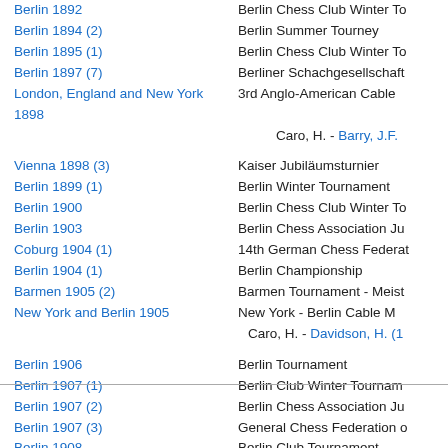Berlin 1892 | Berlin Chess Club Winter To
Berlin 1894 (2) | Berlin Summer Tourney
Berlin 1895 (1) | Berlin Chess Club Winter To
Berlin 1897 (7) | Berliner Schachgesellschaft
London, England and New York 1898 | 3rd Anglo-American Cable
Caro, H. - Barry, J.F.
Vienna 1898 (3) | Kaiser Jubiläumsturnier
Berlin 1899 (1) | Berlin Winter Tournament
Berlin 1900 | Berlin Chess Club Winter To
Berlin 1903 | Berlin Chess Association Ju
Coburg 1904 (1) | 14th German Chess Federat
Berlin 1904 (1) | Berlin Championship
Barmen 1905 (2) | Barmen Tournament - Meist
New York and Berlin 1905 | New York - Berlin Cable M
Caro, H. - Davidson, H. (1
Berlin 1906 | Berlin Tournament
Berlin 1907 (1) | Berlin Club Winter Tournam
Berlin 1907 (2) | Berlin Chess Association Ju
Berlin 1907 (3) | General Chess Federation o
Berlin 1908 | Berlin Club Tournament
Berlin 1911 | Berlin Chess Federation Cha